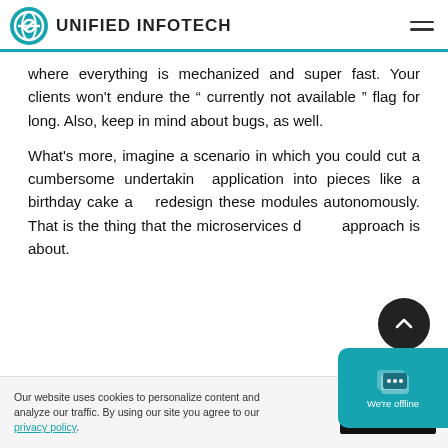UNIFIED INFOTECH
where everything is mechanized and super fast. Your clients won't endure the " currently not available " flag for long. Also, keep in mind about bugs, as well.
What's more, imagine a scenario in which you could cut a cumbersome undertaking application into pieces like a birthday cake and redesign these modules autonomously. That is the thing that the microservices design approach is about.
Our website uses cookies to personalize content and analyze our traffic. By using our site you agree to our privacy policy.